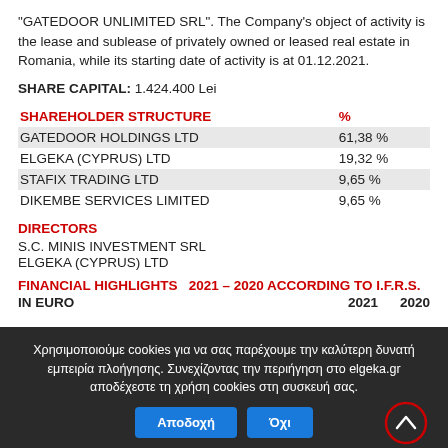"GATEDOOR UNLIMITED SRL". The Company's object of activity is the lease and sublease of privately owned or leased real estate in Romania, while its starting date of activity is at 01.12.2021.
SHARE CAPITAL: 1.424.400 Lei
| SHAREHOLDER STRUCTURE | % |
| --- | --- |
| GATEDOOR HOLDINGS LTD | 61,38 % |
| ELGEKA (CYPRUS) LTD | 19,32 % |
| STAFIX TRADING LTD | 9,65 % |
| DIKEMBE SERVICES LIMITED | 9,65 % |
DIRECTORS
S.C. MINIS INVESTMENT SRL
ELGEKA (CYPRUS) LTD
FINANCIAL HIGHLIGHTS  2021 – 2020 ACCORDING TO I.F.R.S.
IN EURO    2021    2020
Χρησιμοποιούμε cookies για να σας παρέχουμε την καλύτερη δυνατή εμπειρία πλοήγησης. Συνεχίζοντας την περιήγηση στο elgeka.gr αποδέχεστε τη χρήση cookies στη συσκευή σας.